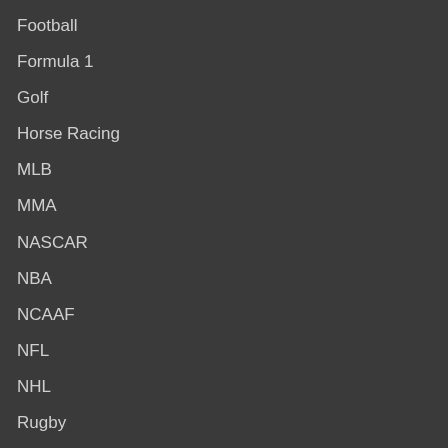Football
Formula 1
Golf
Horse Racing
MLB
MMA
NASCAR
NBA
NCAAF
NFL
NHL
Rugby